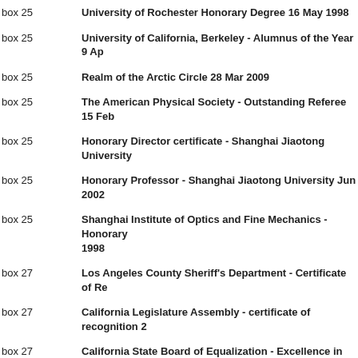box 25 | University of Rochester Honorary Degree 16 May 1998
box 25 | University of California, Berkeley - Alumnus of the Year 9 Ap
box 25 | Realm of the Arctic Circle 28 Mar 2009
box 25 | The American Physical Society - Outstanding Referee 15 Feb
box 25 | Honorary Director certificate - Shanghai Jiaotong University
box 25 | Honorary Professor - Shanghai Jiaotong University Jun 2002
box 25 | Shanghai Institute of Optics and Fine Mechanics - Honorary 1998
box 27 | Los Angeles County Sheriff's Department - Certificate of Re
box 27 | California Legislature Assembly - certificate of recognition 2
box 27 | California State Board of Equalization - Excellence in Scienc
box 27 | County of Los Angeles - Office of the Assessor - certificate o 2002